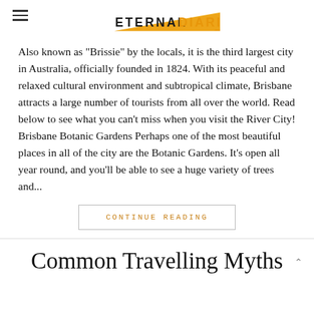ETERNAL DIARIES
Also known as “Brissie” by the locals, it is the third largest city in Australia, officially founded in 1824. With its peaceful and relaxed cultural environment and subtropical climate, Brisbane attracts a large number of tourists from all over the world. Read below to see what you can’t miss when you visit the River City! Brisbane Botanic Gardens Perhaps one of the most beautiful places in all of the city are the Botanic Gardens. It’s open all year round, and you’ll be able to see a huge variety of trees and...
CONTINUE READING
Common Travelling Myths